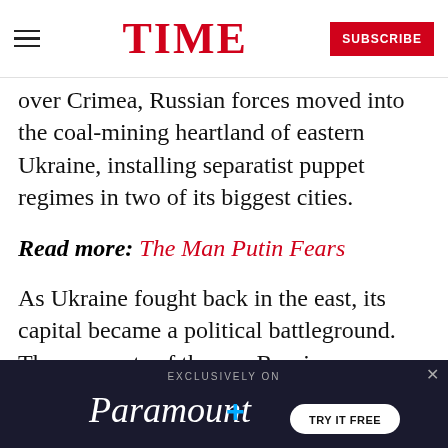TIME — SUBSCRIBE
over Crimea, Russian forces moved into the coal-mining heartland of eastern Ukraine, installing separatist puppet regimes in two of its biggest cities.
Read more: The Man Putin Fears
As Ukraine fought back in the east, its capital became a political battleground. The remnants of the pro-Russian establishment set out to build new parties in Ukraine, each vying for the old regime’s voters. “We knew Putin does not want chaos and war in Ukraine in the long term,” says an adviser to
[Figure (other): Advertisement banner for Paramount+ reading EXCLUSIVELY ON Paramount+ TRY IT FREE on a dark navy background]